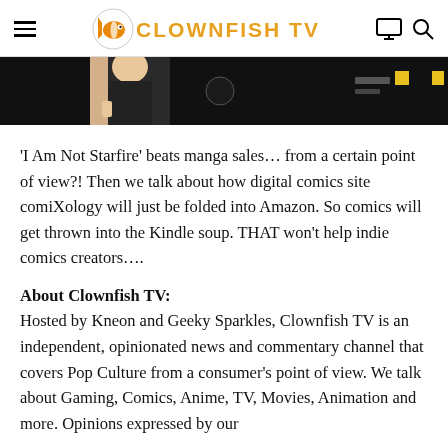CLOWNFISH TV
[Figure (screenshot): Partial banner image showing animated/comic style characters on dark background]
'I Am Not Starfire' beats manga sales… from a certain point of view?! Then we talk about how digital comics site comiXology will just be folded into Amazon. So comics will get thrown into the Kindle soup. THAT won't help indie comics creators….
About Clownfish TV:
Hosted by Kneon and Geeky Sparkles, Clownfish TV is an independent, opinionated news and commentary channel that covers Pop Culture from a consumer's point of view. We talk about Gaming, Comics, Anime, TV, Movies, Animation and more. Opinions expressed by our